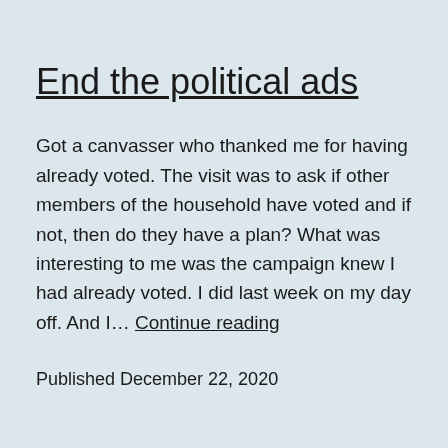End the political ads
Got a canvasser who thanked me for having already voted. The visit was to ask if other members of the household have voted and if not, then do they have a plan? What was interesting to me was the campaign knew I had already voted. I did last week on my day off. And I… Continue reading
Published December 22, 2020